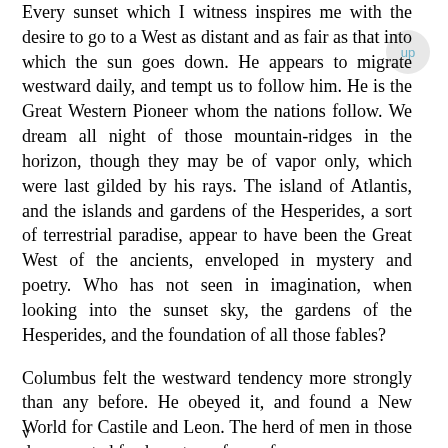Every sunset which I witness inspires me with the desire to go to a West as distant and as fair as that into which the sun goes down. He appears to migrate westward daily, and tempt us to follow him. He is the Great Western Pioneer whom the nations follow. We dream all night of those mountain-ridges in the horizon, though they may be of vapor only, which were last gilded by his rays. The island of Atlantis, and the islands and gardens of the Hesperides, a sort of terrestrial paradise, appear to have been the Great West of the ancients, enveloped in mystery and poetry. Who has not seen in imagination, when looking into the sunset sky, the gardens of the Hesperides, and the foundation of all those fables?
Columbus felt the westward tendency more strongly than any before. He obeyed it, and found a New World for Castile and Leon. The herd of men in those days scented fresh pastures from afar,
v